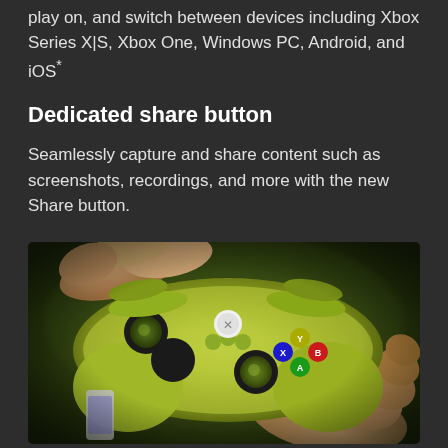play on, and switch between devices including Xbox Series X|S, Xbox One, Windows PC, Android, and iOS*
Dedicated share button
Seamlessly capture and share content such as screenshots, recordings, and more with the new Share button.
[Figure (photo): Hands holding a bright yellow-green Xbox wireless controller, showing the thumbsticks, d-pad, bumpers, and face buttons (A, B, X, Y) against a dark blurred background.]